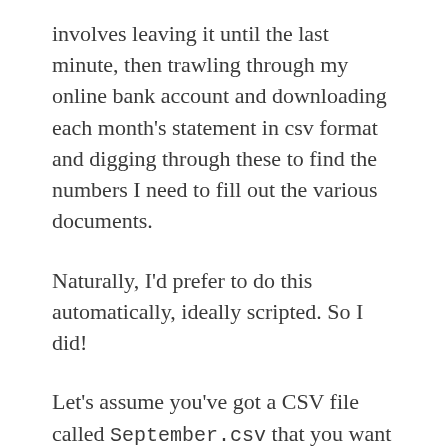involves leaving it until the last minute, then trawling through my online bank account and downloading each month's statement in csv format and digging through these to find the numbers I need to fill out the various documents.
Naturally, I'd prefer to do this automatically, ideally scripted. So I did!
Let's assume you've got a CSV file called September.csv that you want to play with, perhaps with content a bit like this: